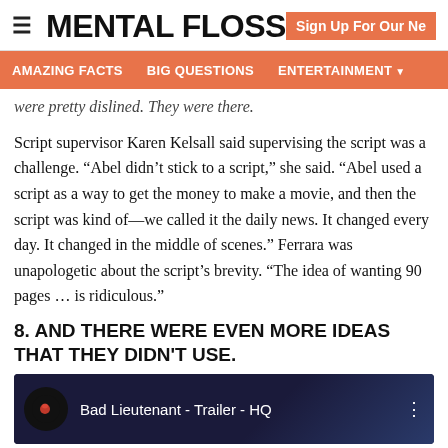MENTAL FLOSS | Sign Up For Our Ne
AMAZING FACTS  BIG QUESTIONS  ENTERTAINMENT
were pretty dislined. They were there.
Script supervisor Karen Kelsall said supervising the script was a challenge. “Abel didn’t stick to a script,” she said. “Abel used a script as a way to get the money to make a movie, and then the script was kind of—we called it the daily news. It changed every day. It changed in the middle of scenes.” Ferrara was unapologetic about the script’s brevity. “The idea of wanting 90 pages … is ridiculous.”
8. AND THERE WERE EVEN MORE IDEAS THAT THEY DIDN'T USE.
[Figure (screenshot): YouTube video thumbnail for 'Bad Lieutenant - Trailer - HQ' with dark blue background, rose icon in circle, and three-dot menu.]